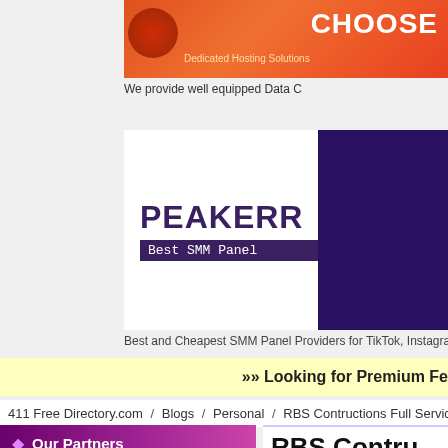[Figure (screenshot): Orange/red ad banner with CHOOSE text and dedicated hosting solutions logo]
We provide well equipped Data C
[Figure (screenshot): PEAKERR Best SMM Panel advertisement with white and dark purple sections]
Best and Cheapest SMM Panel Providers for TikTok, Instagra
»» Looking for Premium Fe
411 Free Directory.com / Blogs / Personal / RBS Contructions Full Services
Our Partners
RBS Contru Services
Website URL: http://rbsconstruction.co
Category: Personal
At RBS we work closely to understand y aspect of construction with quality, speed enables us to adhere to the highest stand and budget.
» London Escorts London Escort Agency Girls Near By Outcall Female Escorts Cheap Local Escorts
» PFBERNAL ABOGADOS EXTRANJERIA abogados extranjería, tramitacion permisos, recursos ante denegaciones, recurso denegación visado, recursos urgentes denegación renovación, despacho enfocado al resultado,cancelacion antecedentes panales, nacionalidad, expulsion
[Figure (screenshot): PUT YOUR 48 advertisement block]